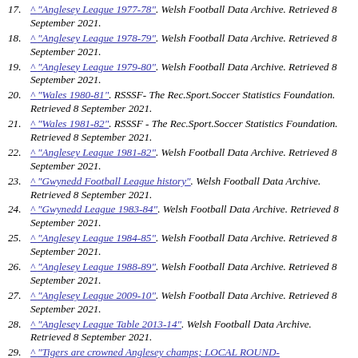17. ^ "Anglesey League 1977-78". Welsh Football Data Archive. Retrieved 8 September 2021.
18. ^ "Anglesey League 1978-79". Welsh Football Data Archive. Retrieved 8 September 2021.
19. ^ "Anglesey League 1979-80". Welsh Football Data Archive. Retrieved 8 September 2021.
20. ^ "Wales 1980-81". RSSSF- The Rec.Sport.Soccer Statistics Foundation. Retrieved 8 September 2021.
21. ^ "Wales 1981-82". RSSSF - The Rec.Sport.Soccer Statistics Foundation. Retrieved 8 September 2021.
22. ^ "Anglesey League 1981-82". Welsh Football Data Archive. Retrieved 8 September 2021.
23. ^ "Gwynedd Football League history". Welsh Football Data Archive. Retrieved 8 September 2021.
24. ^ "Gwynedd League 1983-84". Welsh Football Data Archive. Retrieved 8 September 2021.
25. ^ "Anglesey League 1984-85". Welsh Football Data Archive. Retrieved 8 September 2021.
26. ^ "Anglesey League 1988-89". Welsh Football Data Archive. Retrieved 8 September 2021.
27. ^ "Anglesey League 2009-10". Welsh Football Data Archive. Retrieved 8 September 2021.
28. ^ "Anglesey League Table 2013-14". Welsh Football Data Archive. Retrieved 8 September 2021.
29. ^ "Tigers are crowned Anglesey champs; LOCAL ROUND-